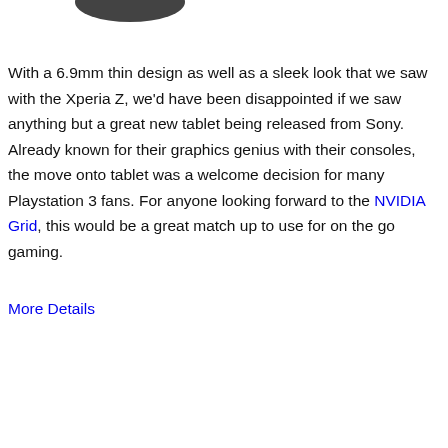[Figure (illustration): Partial view of a logo or graphic at the top of the page, cropped]
With a 6.9mm thin design as well as a sleek look that we saw with the Xperia Z, we'd have been disappointed if we saw anything but a great new tablet being released from Sony. Already known for their graphics genius with their consoles, the move onto tablet was a welcome decision for many Playstation 3 fans. For anyone looking forward to the NVIDIA Grid, this would be a great match up to use for on the go gaming.
More Details